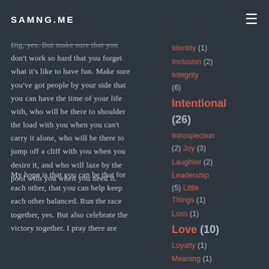SAMNG.ME
Big, yes. But make sure that you don't work so hard that you forget what it's like to have fun. Make sure you've got people by your side that you can have the time of your life with, who will be there to shoulder the load with you when you can't carry it alone, who will be there to jump off a cliff with you when you desire it, and who will laze by the pool with you when you need it.
My hope is that you can be that for each other, that you can help keep each other balanced. Run the race together, yes. But also celebrate the victory together. I pray there are
Identity (1)
Inclusion (2)
Integrity (6)
Intentional (26)
Introspection (2) Joy (3)
Laughter (2)
Leadership (5) Little Things (1)
Loss (1)
Love (10)
Loyalty (1)
Meaning (1)
Mentoring